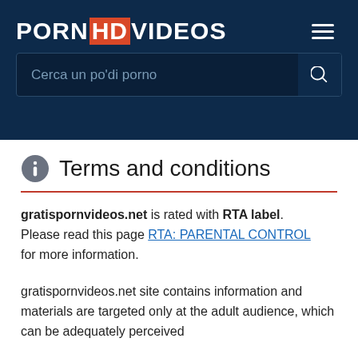PORNHDVIDEOS
Cerca un po'di porno
Terms and conditions
gratispornvideos.net is rated with RTA label. Please read this page RTA: PARENTAL CONTROL for more information.
gratispornvideos.net site contains information and materials are targeted only at the adult audience, which can be adequately perceived